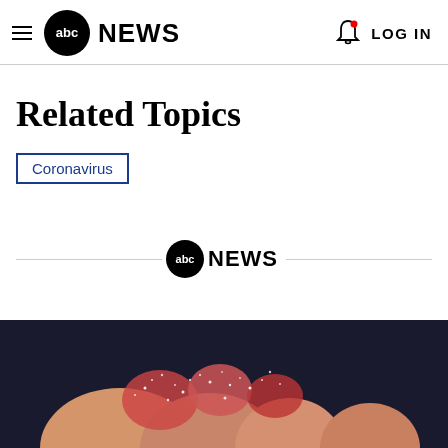abc NEWS  LOG IN
Related Topics
Coronavirus
[Figure (logo): ABC News logo centered with horizontal divider lines on each side]
[Figure (photo): Close-up of fingers holding sugar-coated gummy candies against a dark background]